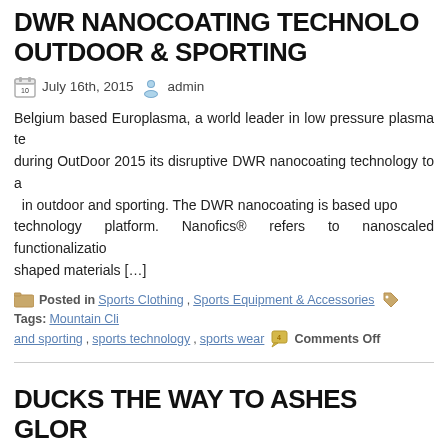DWR NANOCOATING TECHNOLOGY OUTDOOR & SPORTING
July 16th, 2015  admin
Belgium based Europlasma, a world leader in low pressure plasma te... during OutDoor 2015 its disruptive DWR nanocoating technology to a... in outdoor and sporting. The DWR nanocoating is based upo... technology platform. Nanofics® refers to nanoscaled functionalizatio... shaped materials [...]
Posted in Sports Clothing, Sports Equipment & Accessories  Tags: Mountain Cli... and sporting, sports technology, sports wear  Comments Off
DUCKS THE WAY TO ASHES GLOR
July 16th, 2015  admin
Ducks will be the order of the day when cricket fans across the Midlan... tickets for the 3rd Investec Ashes Match this week – all in the name o... heading to the Birmingham Bears' NatWest T20 Blast match wi... Edgbaston on Friday will [...]
Posted in Cricket  Tags: Birmingham Bears, Cricket, Edgbaston...